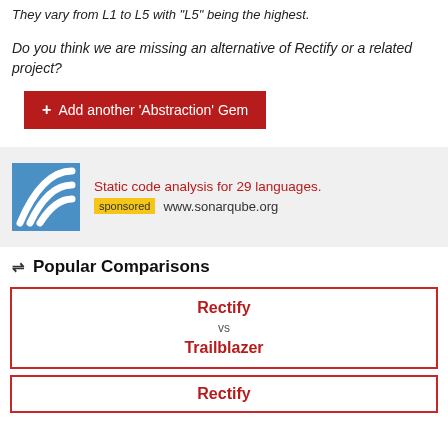They vary from L1 to L5 with "L5" being the highest.
Do you think we are missing an alternative of Rectify or a related project?
+ Add another 'Abstraction' Gem
[Figure (infographic): Ad banner: SonarQube logo (blue square with white curved lines), text 'Static code analysis for 29 languages.' in red, 'sponsored' badge in yellow, 'www.sonarqube.org' in gray]
⇌ Popular Comparisons
| Rectify | vs | Trailblazer |
| Rectify |